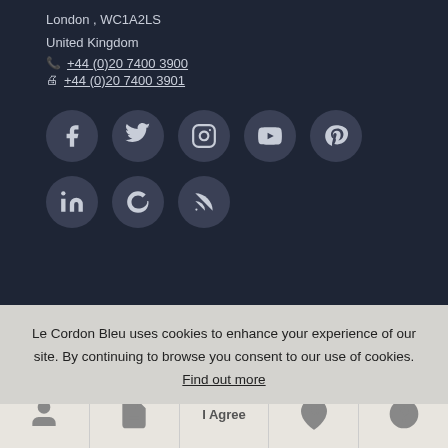London , WC1A2LS
United Kingdom
+44 (0)20 7400 3900
+44 (0)20 7400 3901
[Figure (illustration): Social media icons row 1: Facebook, Twitter, Instagram, YouTube, Pinterest circular icons on dark background]
[Figure (illustration): Social media icons row 2: LinkedIn, Google+, RSS circular icons on dark background]
Le Cordon Bleu uses cookies to enhance your experience of our site. By continuing to browse you consent to our use of cookies. Find out more
I Agree
[Figure (illustration): Bottom navigation bar with person icon, document icon, I Agree text, location pin icon, and question mark icon]